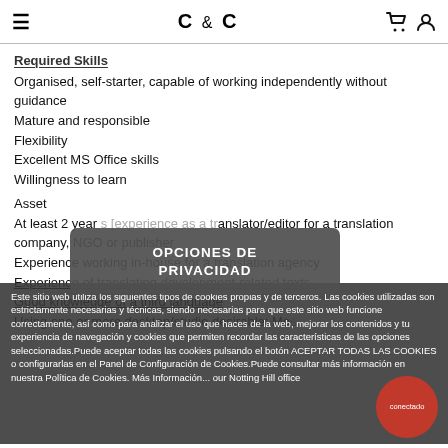≡   C & C   🛒 👤
Required Skills
Organised, self-starter, capable of working independently without guidance
Mature and responsible
Flexibility
Excellent MS Office skills
Willingness to learn
Asset
At least 2 year[s experience as a translator/editor for a translation company, NGO or publisher
Experience working in-house for a translation agency
Experience of translating development-related texts
Good knowledge of a third language
Using one or more desktop/studio desirable: Mos...
[Figure (screenshot): Privacy options popup overlay with dark background reading 'OPCIONES DE PRIVACIDAD']
Este sitio web utiliza los siguientes tipos de cookies propias y de terceros. Las cookies utilizadas son estrictamente necesarias y técnicas, siendo necesarias para que este sitio web funcione correctamente, así como para analizar el uso que haces de la web, mejorar los contenidos y tu experiencia de navegación y cookies que permiten recordar las características de las opciones seleccionadas.Puede aceptar todas las cookies pulsando el botón ACEPTAR TODAS LAS COOKIES o configurarlas en el Panel de Configuración de Cookies.Puede consultar más información en nuestra Política de Cookies. Más Información... our Notting Hill office
[Figure (other): Red circle button with white text 'conectado']